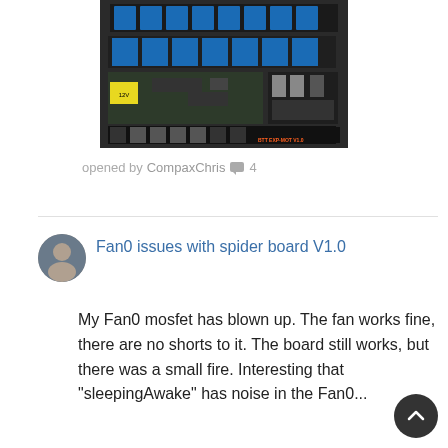[Figure (photo): Photo of a BTT EXP-MOT V1.0 3D printer stepper motor expansion board with blue connectors, stepper driver modules, and various headers on a dark PCB.]
opened by CompaxChris 💬 4
Fan0 issues with spider board V1.0
My Fan0 mosfet has blown up. The fan works fine, there are no shorts to it. The board still works, but there was a small fire. Interesting that "sleepingAwake" has noise in the Fan0...